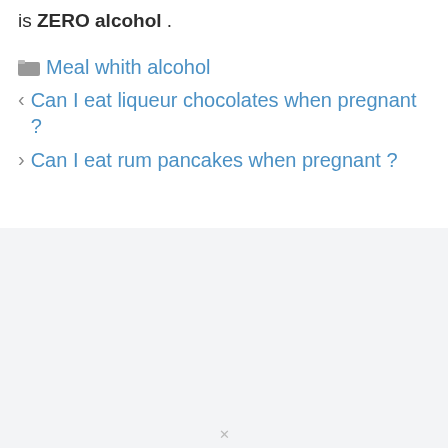is ZERO alcohol .
Meal whith alcohol
Can I eat liqueur chocolates when pregnant ?
Can I eat rum pancakes when pregnant ?